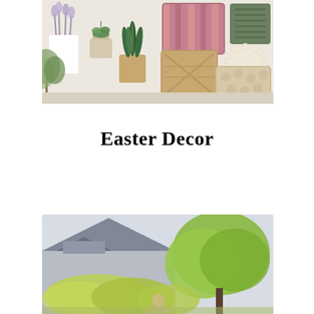[Figure (photo): A styled collage/mood board showing various plants in white and beige pots, decorative pillows in pink/mauve stripes, sage green textured pillow, tan geometric pillow, cream round pillow, and tan floral pillow arranged against a light textured background.]
Easter Decor
[Figure (photo): Outdoor photo showing a couple in front of a house with green trees and shrubs, grey roof visible in background, bright natural daylight.]